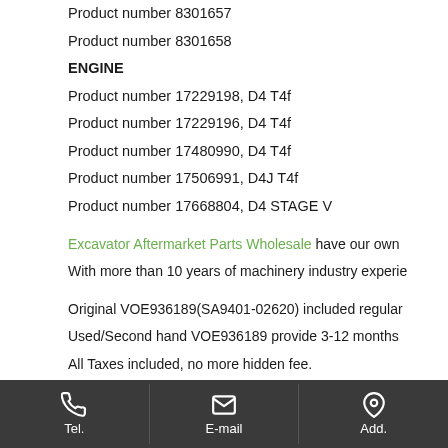Product number 8301657
Product number 8301658
ENGINE
Product number 17229198, D4 T4f
Product number 17229196, D4 T4f
Product number 17480990, D4 T4f
Product number 17506991, D4J T4f
Product number 17668804, D4 STAGE V
Excavator Aftermarket Parts Wholesale have our own
With more than 10 years of machinery industry experie
Original VOE936189(SA9401-02620) included regular
Used/Second hand VOE936189 provide 3-12 months
All Taxes included, no more hidden fee.
Tel.  E-mail  Add.